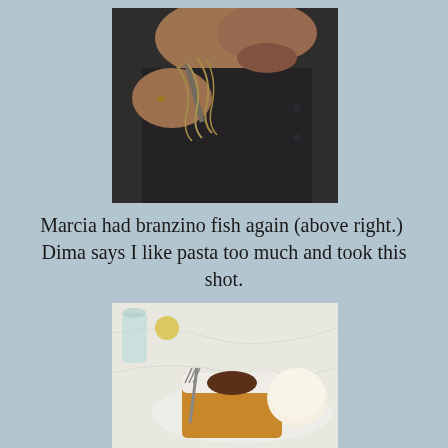[Figure (photo): A man eating pasta/spaghetti from a fork, wearing a dark shirt, close-up shot at a restaurant]
Marcia had branzino fish again (above right.)  Dima says I like pasta too much and took this shot.
[Figure (photo): A dessert on a white tablecloth — appears to be a cake or pastry dusted with powdered sugar with chocolate filling and a fork, alongside a scoop of ice cream]